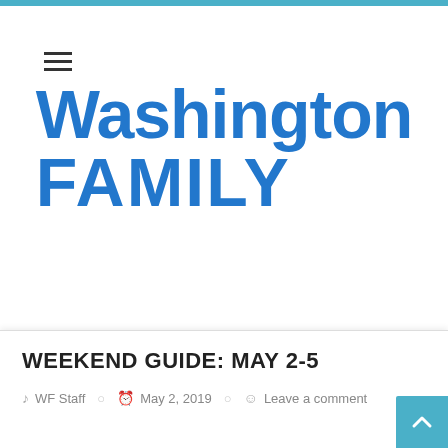Washington Family
WEEKEND GUIDE: MAY 2-5
WF Staff   May 2, 2019   Leave a comment